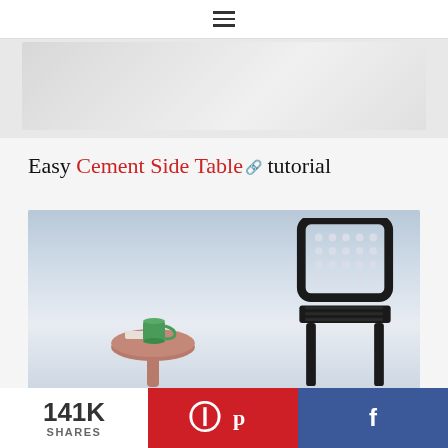≡
[Figure (photo): Partial/cropped top image, light grey gradient background]
Easy Cement Side Table tutorial
[Figure (photo): Photo of a black metal chair with perforated backrest next to a small round cement side table with a green mug and book on top, light blue-grey background]
141K SHARES